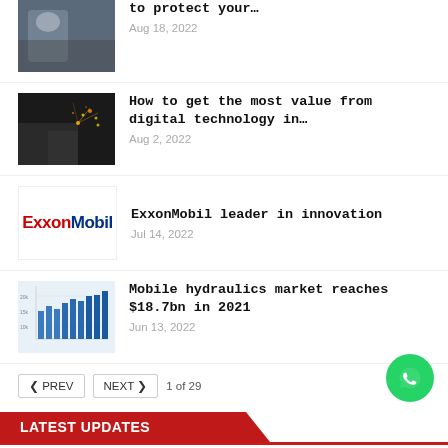[Figure (photo): Partial article thumbnail showing a worker in hard hat]
to protect your…
Aug 18, 2022
[Figure (photo): Photo of industrial sparks/welding]
How to get the most value from digital technology in…
Aug 2, 2022
[Figure (logo): ExxonMobil logo]
ExxonMobil leader in innovation
Jul 14, 2022
[Figure (bar-chart): Small bar chart thumbnail showing mobile hydraulics market data]
Mobile hydraulics market reaches $18.7bn in 2021
Jun 13, 2022
< PREV   NEXT >   1 of 29
LATEST UPDATES
[Figure (photo): Partial thumbnail for Indian Companies article]
Indian Companies steal the show at